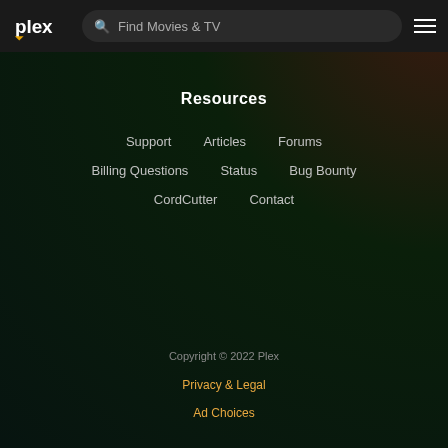Plex | Find Movies & TV
Resources
Support
Articles
Forums
Billing Questions
Status
Bug Bounty
CordCutter
Contact
Copyright © 2022 Plex
Privacy & Legal
Ad Choices